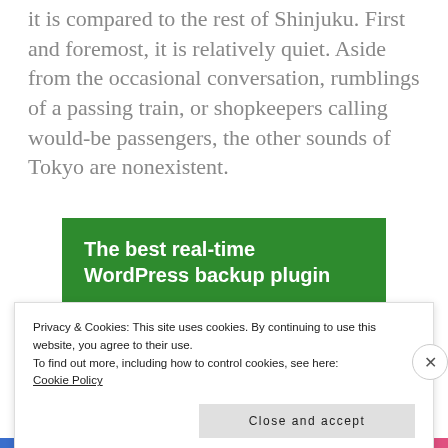it is compared to the rest of Shinjuku. First and foremost, it is relatively quiet. Aside from the occasional conversation, rumblings of a passing train, or shopkeepers calling would-be passengers, the other sounds of Tokyo are nonexistent.
[Figure (other): Green advertisement banner reading: The best real-time WordPress backup plugin]
Privacy & Cookies: This site uses cookies. By continuing to use this website, you agree to their use.
To find out more, including how to control cookies, see here:
Cookie Policy
Close and accept